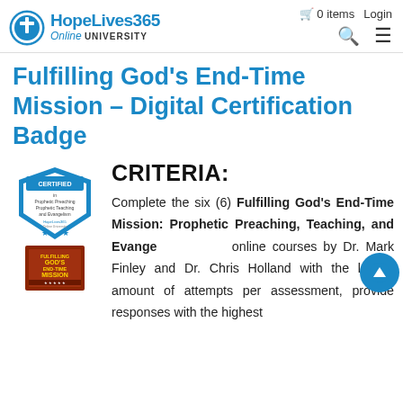HopeLives365 Online University | 0 items | Login
Fulfilling God’s End-Time Mission – Digital Certification Badge
[Figure (logo): Certified badge for Prophetic Preaching, Prophetic Teaching and Evangelism from HopeLives365 Online University, with two stars, and a book cover image for Fulfilling God’s End-Time Mission]
CRITERIA:
Complete the six (6) Fulfilling God’s End-Time Mission: Prophetic Preaching, Teaching, and Evangelism online courses by Dr. Mark Finley and Dr. Chris Holland with the lowest amount of attempts per assessment, provide responses with the highest